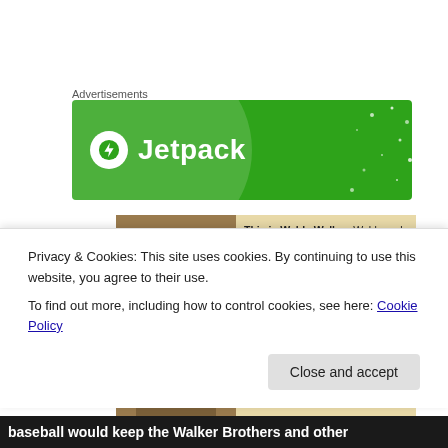Advertisements
[Figure (logo): Jetpack advertisement banner with green background, circular logo with lightning bolt icon and text 'Jetpack']
[Figure (infographic): Sepia photo of Weldy Walker alongside text: 'This is Weldy Walker. Weldy and his brother, Moses "Fleetwood" Walker, were pioneers. They were the first African-Americans to play professional baseball. Weldy and Moses have received very little recognition for their important role in ending segregation. Weldy doesn't even have a tombstone marking his grave']
Privacy & Cookies: This site uses cookies. By continuing to use this website, you agree to their use.
To find out more, including how to control cookies, see here: Cookie Policy
baseball would keep the Walker Brothers and other